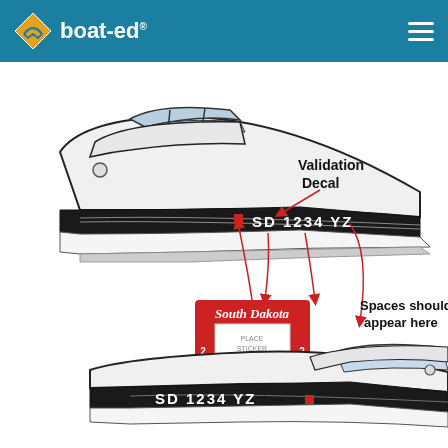boat-ed®
[Figure (illustration): Diagram of a motorboat showing correct placement of registration number 'SD 1234 YZ' on the bow, with a red validation decal (South Dakota 2012, 90050001 MOTORIZED). Arrows point to the registration number components and decal placement. Labels read 'Validation Decal' (top right) and 'Spaces should appear here' (middle right). A second boat at the bottom shows 'SD 1234 YZ' with a red square on the starboard bow.]